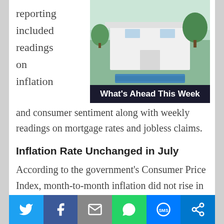reporting included readings on inflation
[Figure (photo): Luxury modern house with swimming pool, with a dark banner reading 'What's Ahead This Week']
and consumer sentiment along with weekly readings on mortgage rates and jobless claims.
Inflation Rate Unchanged in July
According to the government's Consumer Price Index, month-to-month inflation did not rise in July as compared to June's reading of 1.30 percent growth. Analysts expected a reading of 0.20 percent inflationary growth. Inflation rose
Twitter | Facebook | Email | WhatsApp | SMS | Share